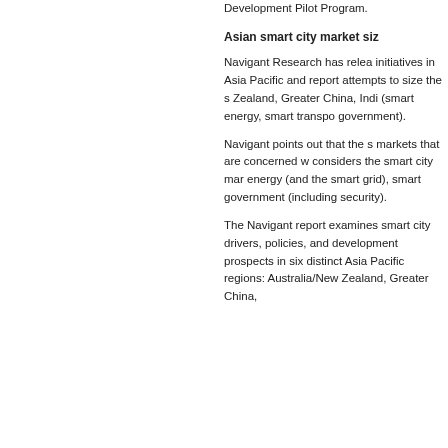Development Pilot Program.
Asian smart city market siz
Navigant Research has relea initiatives in Asia Pacific and report attempts to size the s Zealand, Greater China, Indi (smart energy, smart transpo government).
Navigant points out that the s markets that are concerned w considers the smart city mar energy (and the smart grid), smart government (including security).
The Navigant report examines smart city drivers, policies, and development prospects in six distinct Asia Pacific regions: Australia/New Zealand, Greater China,